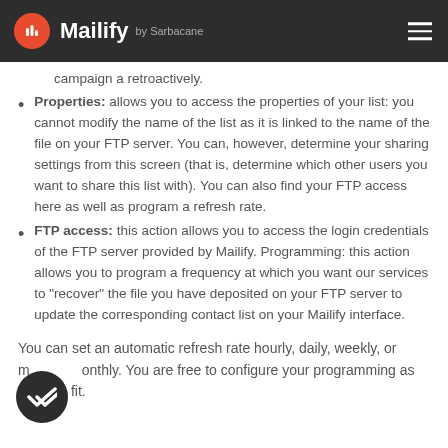Mailify by Sarbacane
campaign a retroactively.
Properties: allows you to access the properties of your list: you cannot modify the name of the list as it is linked to the name of the file on your FTP server. You can, however, determine your sharing settings from this screen (that is, determine which other users you want to share this list with). You can also find your FTP access here as well as program a refresh rate.
FTP access: this action allows you to access the login credentials of the FTP server provided by Mailify. Programming: this action allows you to program a frequency at which you want our services to "recover" the file you have deposited on your FTP server to update the corresponding contact list on your Mailify interface.
You can set an automatic refresh rate hourly, daily, weekly, or monthly. You are free to configure your programming as you see fit.